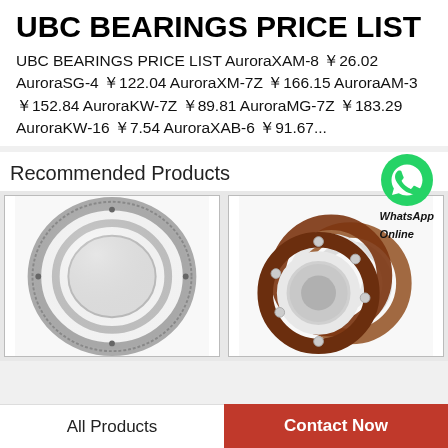UBC BEARINGS PRICE LIST
UBC BEARINGS PRICE LIST AuroraXAM-8 ￥26.02 AuroraSG-4 ￥122.04 AuroraXM-7Z ￥166.15 AuroraAM-3 ￥152.84 AuroraKW-7Z ￥89.81 AuroraMG-7Z ￥183.29 AuroraKW-16 ￥7.54 AuroraXAB-6 ￥91.67...
Recommended Products
[Figure (photo): Slewing ring bearing with internal gear teeth, circular metallic component]
[Figure (photo): Multiple angular contact ball bearings with brown/maroon retainers stacked together]
WhatsApp Online
All Products
Contact Now